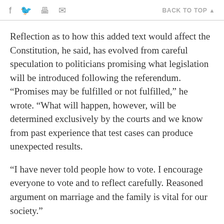f  [twitter]  [print]  [email]   BACK TO TOP ▲
Reflection as to how this added text would affect the Constitution, he said, has evolved from careful speculation to politicians promising what legislation will be introduced following the referendum. "Promises may be fulfilled or not fulfilled," he wrote. "What will happen, however, will be determined exclusively by the courts and we know from past experience that test cases can produce unexpected results.
"I have never told people how to vote. I encourage everyone to vote and to reflect carefully. Reasoned argument on marriage and the family is vital for our society."
If the amendment passes in this predominantly Catholic country, Ireland will be the first country to